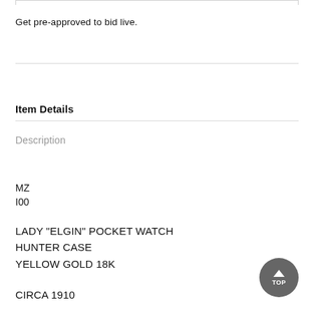Get pre-approved to bid live.
Item Details
Description
MZ
I00
LADY "ELGIN" POCKET WATCH HUNTER CASE YELLOW GOLD 18K
CIRCA 1910